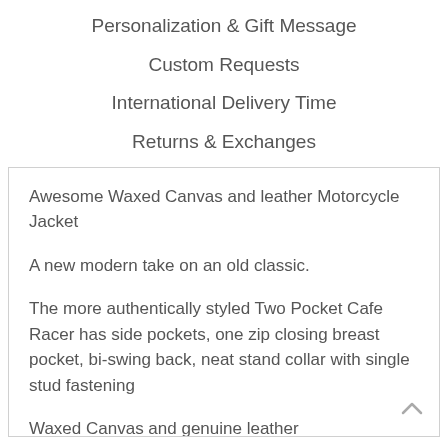Personalization & Gift Message
Custom Requests
International Delivery Time
Returns & Exchanges
Awesome Waxed Canvas and leather Motorcycle Jacket

A new modern take on an old classic.

The more authentically styled Two Pocket Cafe Racer has side pockets, one zip closing breast pocket, bi-swing back, neat stand collar with single stud fastening

Waxed Canvas and genuine leather